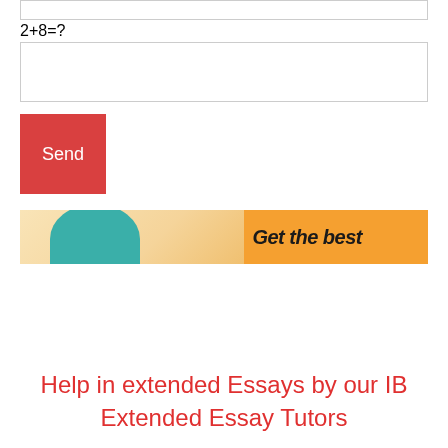2+8=?
[Figure (screenshot): Web form with a CAPTCHA question '2+8=?', an answer input box, and a red Send button, followed by a banner ad with teal arc shape and text 'Get the best' on orange background]
Help in extended Essays by our IB Extended Essay Tutors